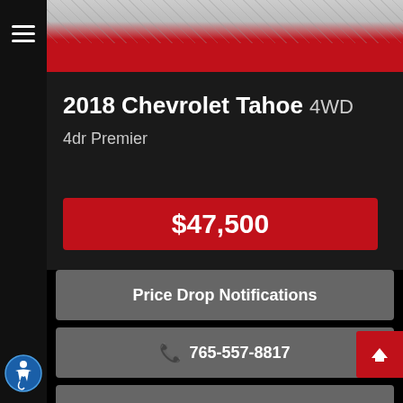[Figure (screenshot): Mobile app screenshot showing a car dealership listing for a 2018 Chevrolet Tahoe 4WD 4dr Premier priced at $47,500 with action buttons for Price Drop Notifications, phone number 765-557-8817, and Inquiry.]
2018 Chevrolet Tahoe 4WD
4dr Premier
$47,500
Price Drop Notifications
765-557-8817
Inquiry